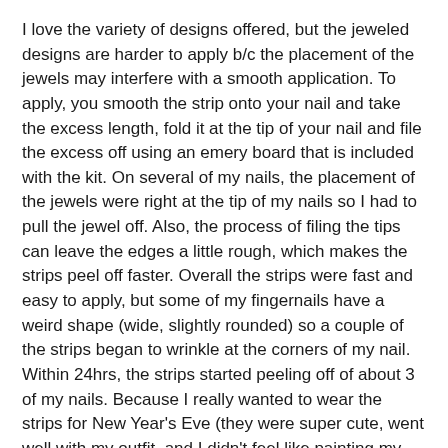I love the variety of designs offered, but the jeweled designs are harder to apply b/c the placement of the jewels may interfere with a smooth application.  To apply, you smooth the strip onto your nail and take the excess length, fold it at the tip of your nail and file the excess off using an emery board that is included with the kit. On several of my nails, the placement of the jewels were right at the tip of my nails so I had to pull the jewel off.  Also, the process of filing the tips can leave the edges a little rough, which makes the strips peel off faster.    Overall the strips were fast and easy to apply, but some of my fingernails have a weird shape (wide, slightly rounded) so a couple of the strips began to wrinkle at the corners of my nail. Within 24hrs, the strips started peeling off of about 3 of my nails. Because I really wanted to wear the strips for New Year's Eve (they were super cute, went well with my outfit, and I didn't feel like painting my nails) I fought the urge to just pull them off and used a little bit of eyelash glue under the peeling areas to keep them intact for the night.
So, in summary: